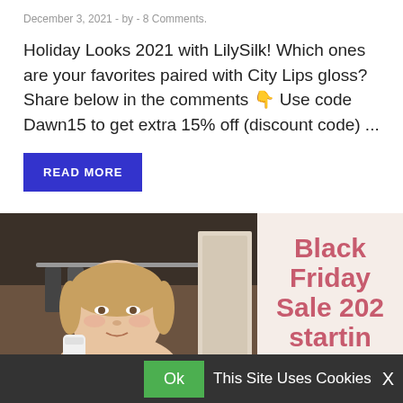December 3, 2021 - by - 8 Comments.
Holiday Looks 2021 with LilySilk! Which ones are your favorites paired with City Lips gloss? Share below in the comments 👇 Use code Dawn15 to get extra 15% off (discount code) ...
READ MORE
[Figure (photo): A woman holding a beauty product in a closet, with Black Friday Sale 2021 starting text overlay on the right side]
Ok  This Site Uses Cookies  X